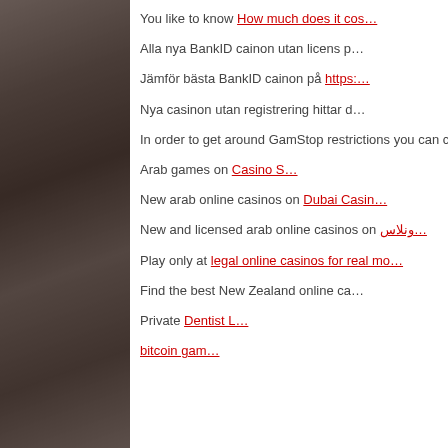[Figure (photo): Dark reddish-brown photograph on the left side of the page, partially visible, appears to be a person or scene in low lighting.]
You like to know How much does it cos…
Alla nya BankID cainon utan licens p…
Jämför bästa BankID cainon på https:…
Nya casinon utan registrering hittar d…
In order to get around GamStop restrictions you can check ou…
Arab games on Casino S…
New arab online casinos on Dubai Casin…
New and licensed arab online casinos on ونلاس…
Play only at legal online casinos for real mo…
Find the best New Zealand online ca…
Private Dentist L…
bitcoin gam…